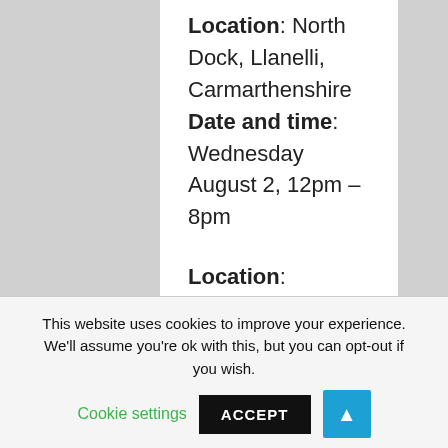Location: North Dock, Llanelli, Carmarthenshire Date and time: Wednesday August 2, 12pm – 8pm
Location: Wakeup Docklands, London Date and time: Thursday August 3, 7pm – 10pm
Location: Newquay, Cornwall Date and time: Saturday August 5, 12pm – 8pm
Article Tags: SUP
Article Categories: Workouts
This website uses cookies to improve your experience. We'll assume you're ok with this, but you can opt-out if you wish. Cookie settings ACCEPT